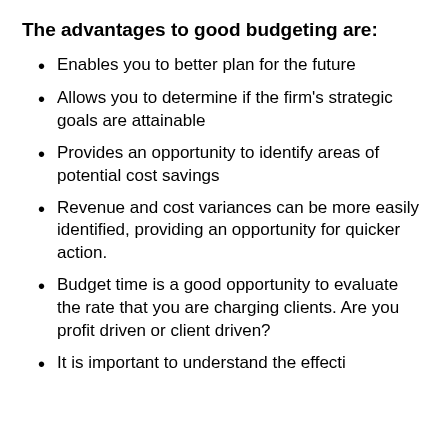The advantages to good budgeting are:
Enables you to better plan for the future
Allows you to determine if the firm's strategic goals are attainable
Provides an opportunity to identify areas of potential cost savings
Revenue and cost variances can be more easily identified, providing an opportunity for quicker action.
Budget time is a good opportunity to evaluate the rate that you are charging clients. Are you profit driven or client driven?
It is important to understand the effective…